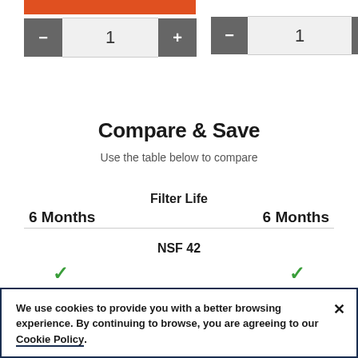[Figure (screenshot): UI showing an orange bar and two quantity stepper controls (minus, 1, plus) side by side]
Compare & Save
Use the table below to compare
Filter Life
6 Months        6 Months
NSF 42
[Figure (illustration): Two green checkmarks indicating NSF 42 compliance for both products]
We use cookies to provide you with a better browsing experience. By continuing to browse, you are agreeing to our Cookie Policy.